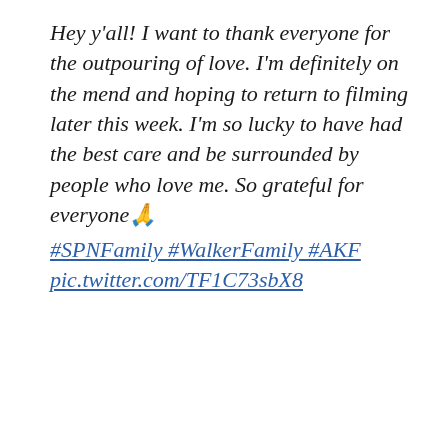Hey y'all! I want to thank everyone for the outpouring of love. I'm definitely on the mend and hoping to return to filming later this week. I'm so lucky to have had the best care and be surrounded by people who love me. So grateful for everyone🙏 #SPNFamily #WalkerFamily #AKF pic.twitter.com/TF1C73sbX8